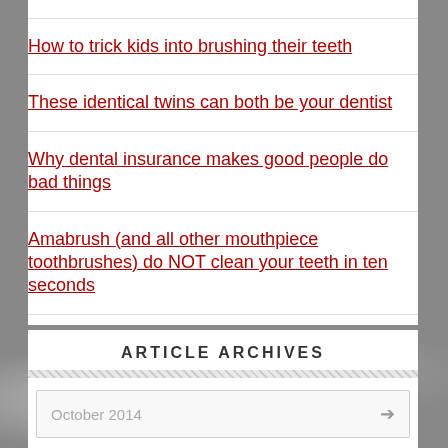How to trick kids into brushing their teeth
These identical twins can both be your dentist
Why dental insurance makes good people do bad things
Amabrush (and all other mouthpiece toothbrushes) do NOT clean your teeth in ten seconds
ARTICLE ARCHIVES
October 2014